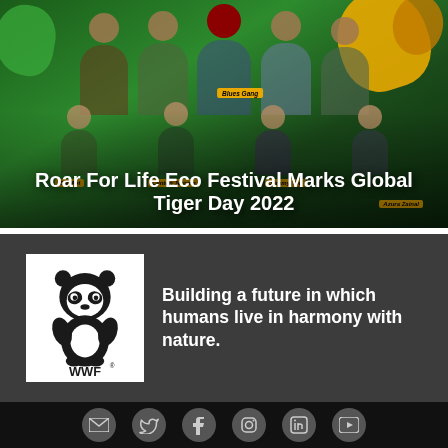[Figure (photo): Group photo of musicians on a green jungle-themed stage background for Roar For Life Eco Festival. Name labels: Blues Gang, Zee Avi, Clinton Jerome, Jeremy Teo, Azura Zainal. Overlaid title text: Roar For Life Eco Festival Marks Global Tiger Day 2022.]
Roar For Life Eco Festival Marks Global Tiger Day 2022
[Figure (logo): WWF panda logo in black and white with text WWF below]
Building a future in which humans live in harmony with nature.
[Figure (infographic): Row of six social media icons (email, Twitter, Facebook, Instagram, LinkedIn, YouTube) in gray circles on black background footer]